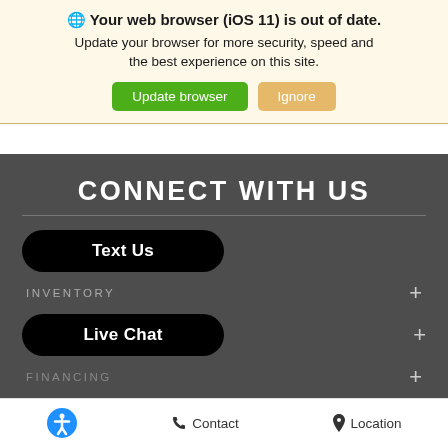🌐 Your web browser (iOS 11) is out of date. Update your browser for more security, speed and the best experience on this site.
Update browser | Ignore
CONNECT WITH US
Text Us
INVENTORY +
Live Chat
FINANCING +
Accessibility icon | Contact | Location